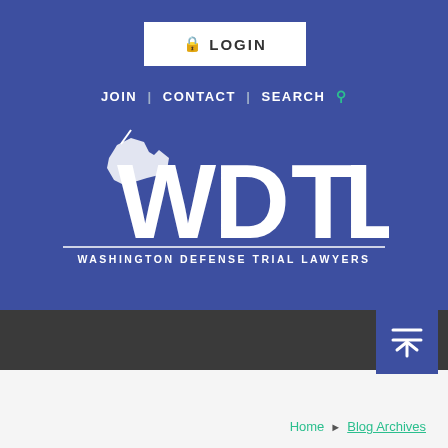[Figure (logo): LOGIN button with lock icon on blue background header]
JOIN | CONTACT | SEARCH
[Figure (logo): WDTL Washington Defense Trial Lawyers logo with Washington state silhouette on blue background]
[Figure (other): Dark navigation bar with hamburger/menu icon button on right side in blue square]
Home > Blog Archives